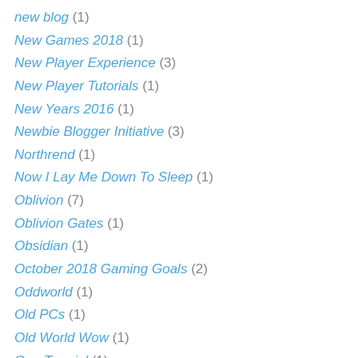new blog (1)
New Games 2018 (1)
New Player Experience (3)
New Player Tutorials (1)
New Years 2016 (1)
Newbie Blogger Initiative (3)
Northrend (1)
Now I Lay Me Down To Sleep (1)
Oblivion (7)
Oblivion Gates (1)
Obsidian (1)
October 2018 Gaming Goals (2)
Oddworld (1)
Old PCs (1)
Old World Wow (1)
One Tamriel (1)
Orcs (3)
Otherside Entertainment (1)
Paladins (3)
Pandaria (1)